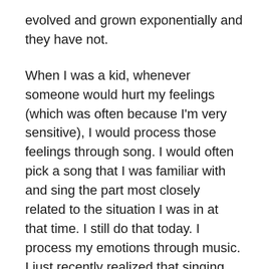evolved and grown exponentially and they have not.
When I was a kid, whenever someone would hurt my feelings (which was often because I'm very sensitive), I would process those feelings through song. I would often pick a song that I was familiar with and sing the part most closely related to the situation I was in at that time. I still do that today. I process my emotions through music. I just recently realized that singing was how I coped with my pain throughout life. My horoscope has been saying for months that I was going to have to reconcile how I process pain, trauma, fears, and insecurities. It also said that I'm going to have to